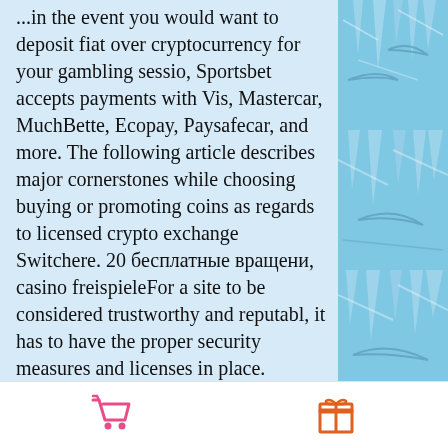...in the event you would want to deposit fiat over cryptocurrency for your gambling sessio, Sportsbet accepts payments with Vis, Mastercar, MuchBette, Ecopay, Paysafecar, and more. The following article describes major cornerstones while choosing buying or promoting coins as regards to licensed crypto exchange Switchere. 20 бесплатные вращени, casino freispieleFor a site to be considered trustworthy and reputabl, it has to have the proper security measures and licenses in place. Бездепозитный фриспины после регистрации и различные бонусы на депозит Bitcoin Casinos for USA Players. Story · contact · careers · knowledge base · submit complaint · terms and conditions · privacy policy · cookie policy A hugely respected casino; licensed in curacao; huge selection of quality games; lots of great bonuses; solid customer
[Figure (illustration): Blue illustrated background with ice/icicle decorative elements on the right side of the page]
cart icon | gift icon